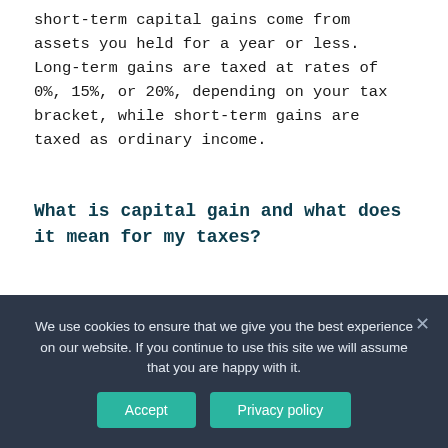short-term capital gains come from assets you held for a year or less. Long-term gains are taxed at rates of 0%, 15%, or 20%, depending on your tax bracket, while short-term gains are taxed as ordinary income.
What is capital gain and what does it mean for my taxes?
Capital gains taxes are only triggered when an asset is realized, not while it is held by an investor. That means he can own stock shares, for example, that appreciate every
We use cookies to ensure that we give you the best experience on our website. If you continue to use this site we will assume that you are happy with it.